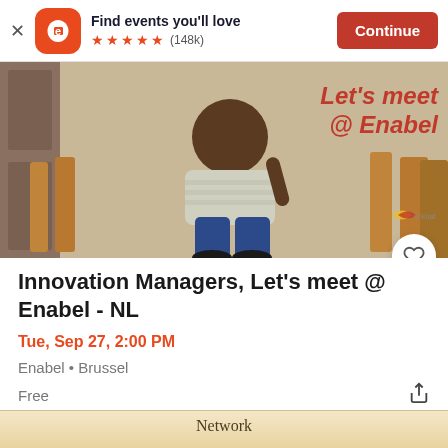[Figure (screenshot): Eventbrite app banner showing logo, 'Find events you'll love', 5 stars (148k reviews), and Continue button]
[Figure (photo): Photo of a person sitting on a wooden chair with text 'Let’s meet @ Enabel' overlaid in red on the right side, with Enabel logo watermark]
Innovation Managers, Let's meet @ Enabel - NL
Tue, Sep 27, 2:00 PM
Enabel • Brussel
Free
[Figure (photo): Partial view of a second event card with 'Network' text visible at the bottom]